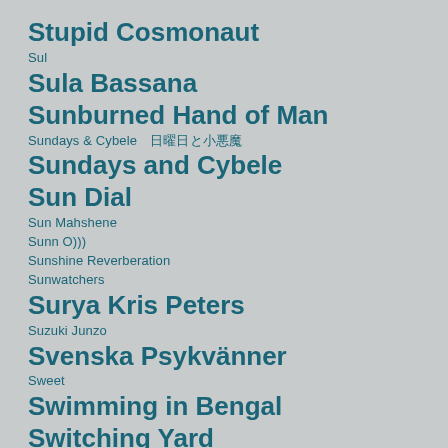Stupid Cosmonaut
Sul
Sula Bassana
Sunburned Hand of Man
Sundays & Cybele　日曜日と小悪魔
Sundays and Cybele
Sun Dial
Sun Mahshene
Sunn O)))
Sunshine Reverberation
Sunwatchers
Surya Kris Peters
Suzuki Junzo
Svenska Psykvänner
Sweet
Swimming in Bengal
Switching Yard
Tabby Sensibilities
Tajak
Talk Talk